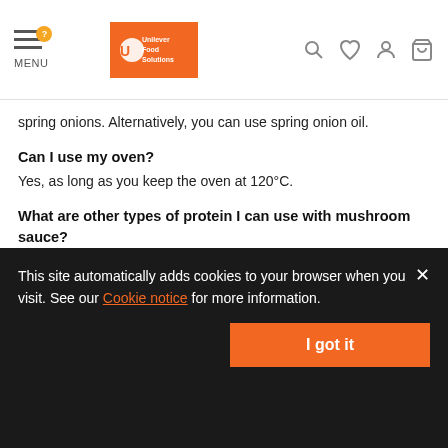MENU | Unilever Food Solutions
spring onions. Alternatively, you can use spring onion oil.
Can I use my oven?
Yes, as long as you keep the oven at 120°C.
What are other types of protein I can use with mushroom sauce?
Chicken can be swapped for a pork steak or veal cutlets.
Ingredients
Chicken
This site automatically adds cookies to your browser when you visit. See our Cookie notice for more information.